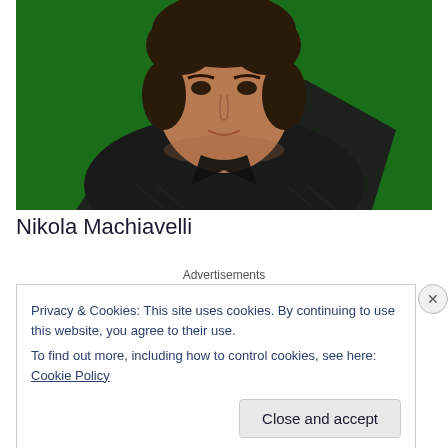[Figure (photo): Portrait photo of a young man with dark curly hair wearing a dark striped jacket, against a dark green background.]
Nikola Machiavelli
Advertisements
Privacy & Cookies: This site uses cookies. By continuing to use this website, you agree to their use.
To find out more, including how to control cookies, see here: Cookie Policy
Close and accept